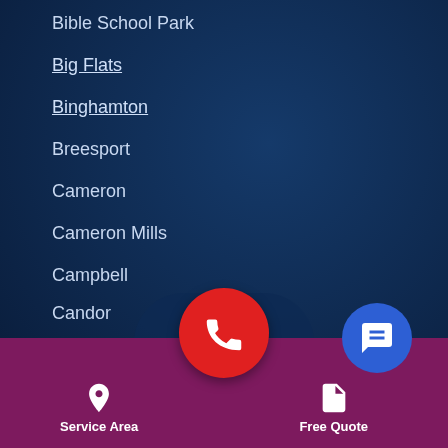Bible School Park
Big Flats
Binghamton
Breesport
Cameron
Cameron Mills
Campbell
Candor
More Cities
[Figure (screenshot): Mobile app bottom navigation bar with dark blue silhouette background, purple bar, red phone call button in center, location pin icon with 'Service Area' label on left, document icon with 'Free Quote' label on right, and blue chat bubble icon on far right.]